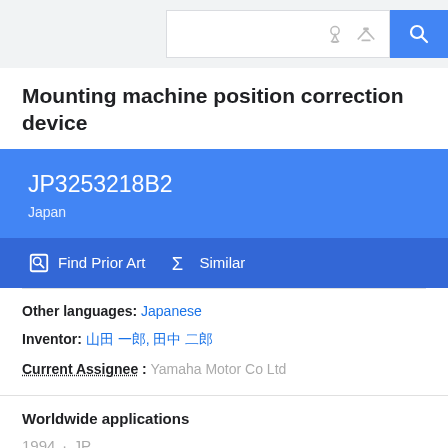Search bar with icons
Mounting machine position correction device
JP3253218B2 Japan
Find Prior Art  Similar
Other languages: Japanese
Inventor: [Japanese characters]
Current Assignee : Yamaha Motor Co Ltd
Worldwide applications
1994 · JP